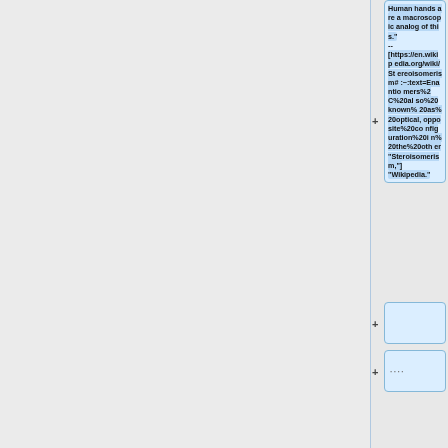Human hands are a macroscopic analog of this." -- [https://en.wikipedia.org/wiki/Stereoisomerism#:~:text=Enantiomers%2C%20also%20known%20as%20optical,opposite%20configuration%20in%20the%20other "Steroisomerism,"] "Wikipedia."
....